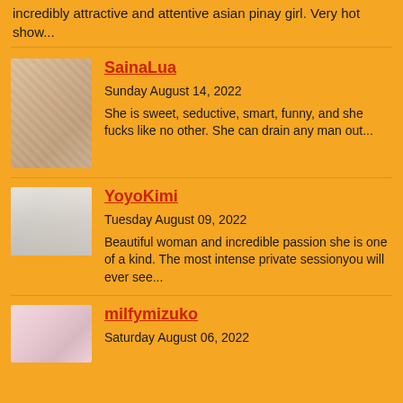incredibly attractive and attentive asian pinay girl. Very hot show...
SainaLua
Sunday August 14, 2022
She is sweet, seductive, smart, funny, and she fucks like no other. She can drain any man out...
YoyoKimi
Tuesday August 09, 2022
Beautiful woman and incredible passion she is one of a kind. The most intense private sessionyou will ever see...
milfymizuko
Saturday August 06, 2022